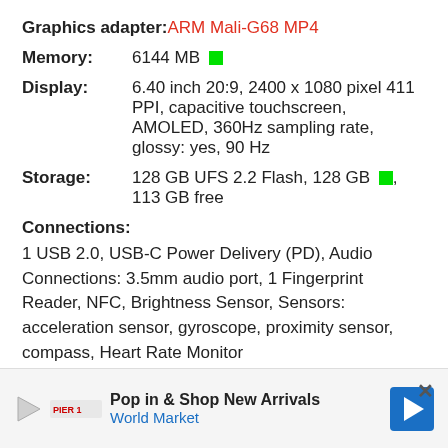Graphics adapter: ARM Mali-G68 MP4
Memory: 6144 MB [green square]
Display: 6.40 inch 20:9, 2400 x 1080 pixel 411 PPI, capacitive touchscreen, AMOLED, 360Hz sampling rate, glossy: yes, 90 Hz
Storage: 128 GB UFS 2.2 Flash, 128 GB [green square], 113 GB free
Connections:
1 USB 2.0, USB-C Power Delivery (PD), Audio Connections: 3.5mm audio port, 1 Fingerprint Reader, NFC, Brightness Sensor, Sensors: acceleration sensor, gyroscope, proximity sensor, compass, Heart Rate Monitor
Networking:
802.11 a/b/g/n/ac/ax (a/b/g/n = Wi-Fi 4/ac = Wi-Fi 5/ax = Wi-Fi 6), Bluetooth 5.2, 2G (850/900/
Pop in & Shop New Arrivals World Market